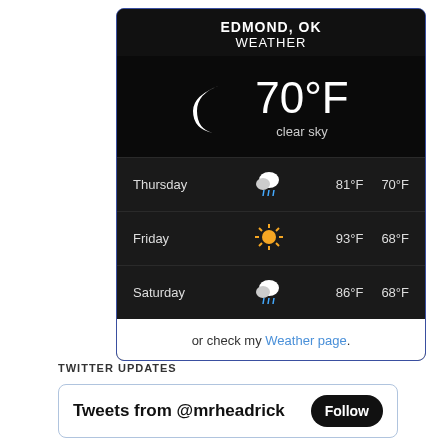[Figure (infographic): Weather widget for Edmond, OK showing current temperature 70°F with clear sky and moon icon, plus 3-day forecast: Thursday 81°F/70°F rain, Friday 93°F/68°F sunny, Saturday 86°F/68°F rain]
or check my Weather page.
TWITTER UPDATES
Tweets from @mrheadrick  Follow